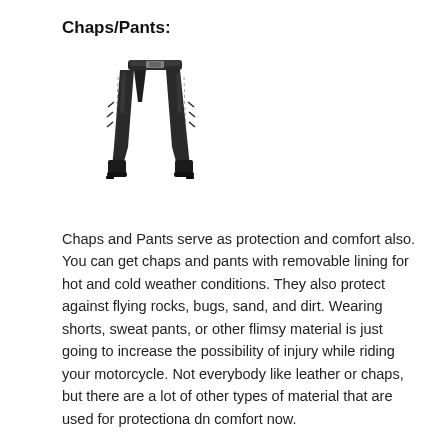Chaps/Pants:
[Figure (photo): Image of black leather motorcycle chaps/pants with boots]
Chaps and Pants serve as protection and comfort also. You can get chaps and pants with removable lining for hot and cold weather conditions. They also protect against flying rocks, bugs, sand, and dirt. Wearing shorts, sweat pants, or other flimsy material is just going to increase the possibility of injury while riding your motorcycle. Not everybody like leather or chaps, but there are a lot of other types of material that are used for protectiona dn comfort now.